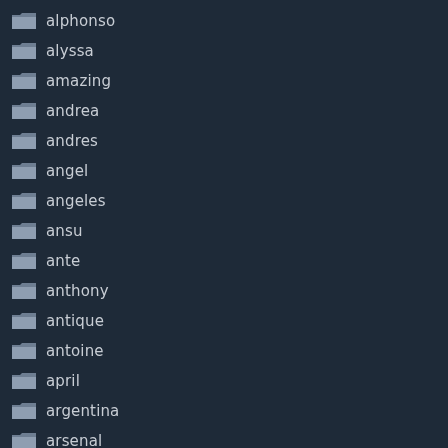alphonso
alyssa
amazing
andrea
andres
angel
angeles
ansu
ante
anthony
antique
antoine
april
argentina
arsenal
arsene
ashley
asked